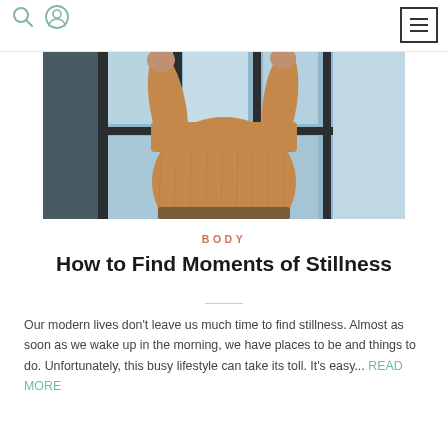[search icon] [user icon] [hamburger menu]
[Figure (photo): A person wearing a tan/camel ribbed sweater standing near a window with dark frames, viewed from the torso down, arms raised holding the window frame or curtain. Background shows blue tones outside the window.]
BODY
How to Find Moments of Stillness
Our modern lives don't leave us much time to find stillness. Almost as soon as we wake up in the morning, we have places to be and things to do. Unfortunately, this busy lifestyle can take its toll. It's easy... READ MORE